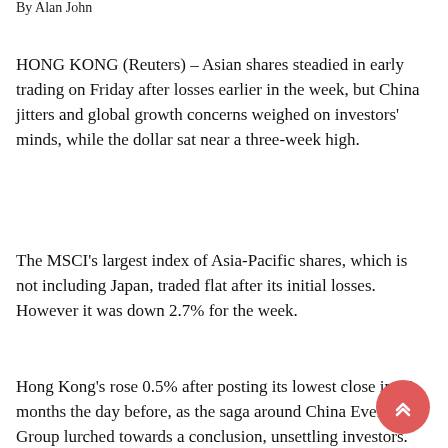By Alan John
HONG KONG (Reuters) – Asian shares steadied in early trading on Friday after losses earlier in the week, but China jitters and global growth concerns weighed on investors' minds, while the dollar sat near a three-week high.
The MSCI's largest index of Asia-Pacific shares, which is not including Japan, traded flat after its initial losses. However it was down 2.7% for the week.
Hong Kong's rose 0.5% after posting its lowest close in 10 months the day before, as the saga around China Evergrande Group lurched towards a conclusion, unsettling investors.